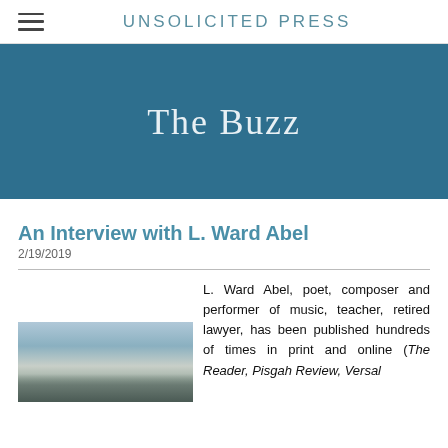Unsolicited Press
The Buzz
An Interview with L. Ward Abel
2/19/2019
L. Ward Abel, poet, composer and performer of music, teacher, retired lawyer, has been published hundreds of times in print and online (The Reader, Pisgah Review, Versal
[Figure (photo): Outdoor sky and landscape photograph, showing clouds and a distant treeline or horizon]